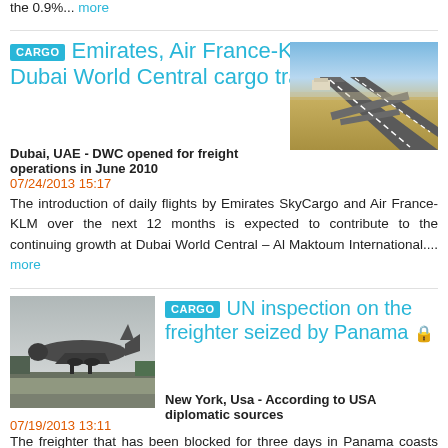the 0.9%... more
Emirates, Air France-KLM to bolster Dubai World Central cargo traffic
[Figure (photo): Aerial view of Dubai World Central airport with runways visible from above in desert landscape]
Dubai, UAE - DWC opened for freight operations in June 2010
07/24/2013 15:17
The introduction of daily flights by Emirates SkyCargo and Air France-KLM over the next 12 months is expected to contribute to the continuing growth at Dubai World Central – Al Maktoum International.... more
[Figure (photo): Military or cargo freighter aircraft landing or taking off on a runway, grey sky background]
UN inspection on the freighter seized by Panama
New York, Usa - According to USA diplomatic sources
07/19/2013 13:11
The freighter that has been blocked for three days in Panama coasts will soon be inspected by a delegation of experts sent by the United